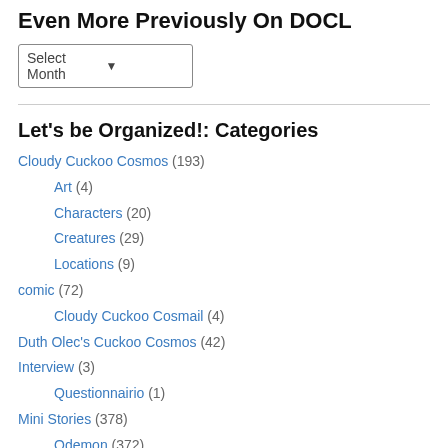Even More Previously On DOCL
[Figure (other): Dropdown selector labeled 'Select Month']
Let's be Organized!: Categories
Cloudy Cuckoo Cosmos (193)
Art (4)
Characters (20)
Creatures (29)
Locations (9)
comic (72)
Cloudy Cuckoo Cosmail (4)
Duth Olec's Cuckoo Cosmos (42)
Interview (3)
Questionnairio (1)
Mini Stories (378)
Odemon (372)
Novel (164)
Darmenzi (37)